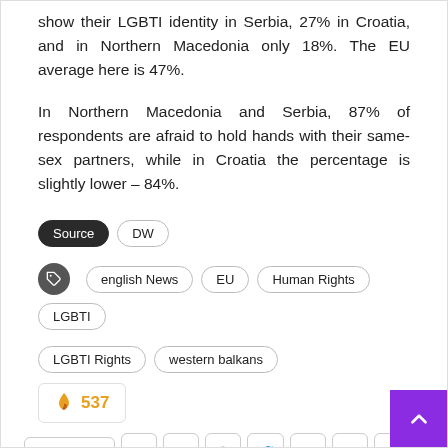show their LGBTI identity in Serbia, 27% in Croatia, and in Northern Macedonia only 18%. The EU average here is 47%.
In Northern Macedonia and Serbia, 87% of respondents are afraid to hold hands with their same-sex partners, while in Croatia the percentage is slightly lower – 84%.
Source | DW
english News | EU | Human Rights | LGBTI | LGBTI Rights | western balkans
🔥 537
Share | Facebook | Email | Instagram | Twitter | LinkedIn | WhatsApp | More